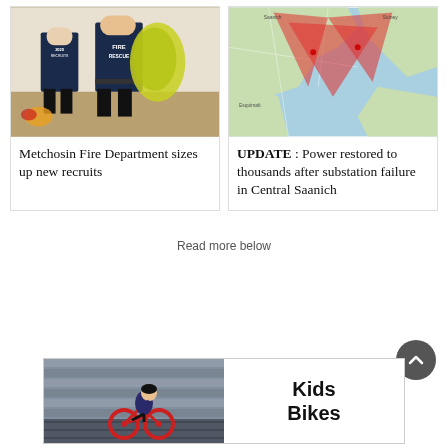[Figure (photo): Two firefighters from behind wearing dark uniforms, one with '2020 RECRUITS' text, other with 'FIRE RESCUE' text, handling yellow gear in a room]
Metchosin Fire Department sizes up new recruits
[Figure (map): Map showing coastal area with overlapping red triangle shapes indicating affected power outage zones in Central Saanich]
UPDATE : Power restored to thousands after substation failure in Central Saanich
Read more below
[Figure (photo): Child riding a red BMX/kids bike on a track, advertisement banner for Kids Bikes]
Kids Bikes